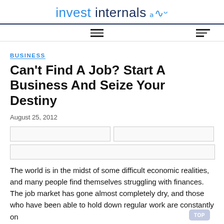invest internals
BUSINESS
Can't Find A Job? Start A Business And Seize Your Destiny
August 25, 2012
The world is in the midst of some difficult economic realities, and many people find themselves struggling with finances. The job market has gone almost completely dry, and those who have been able to hold down regular work are constantly on